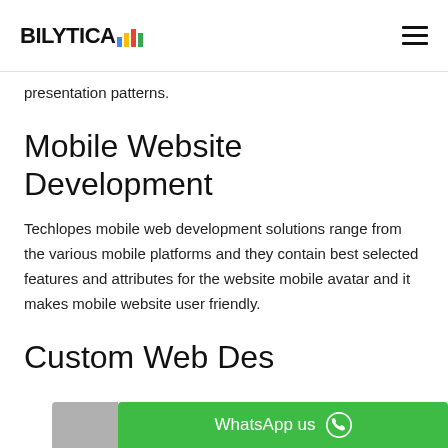BILYTICA [logo with bar chart icon]
presentation patterns.
Mobile Website Development
Techlopes mobile web development solutions range from the various mobile platforms and they contain best selected features and attributes for the website mobile avatar and it makes mobile website user friendly.
Custom Web Design